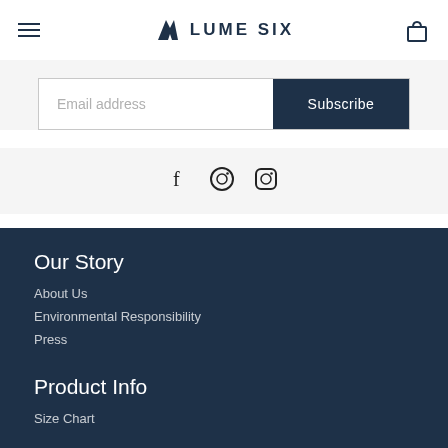LUME SIX
Email address
Subscribe
[Figure (other): Social media icons: Facebook (f), Pinterest, Instagram]
Our Story
About Us
Environmental Responsibility
Press
Product Info
Size Chart